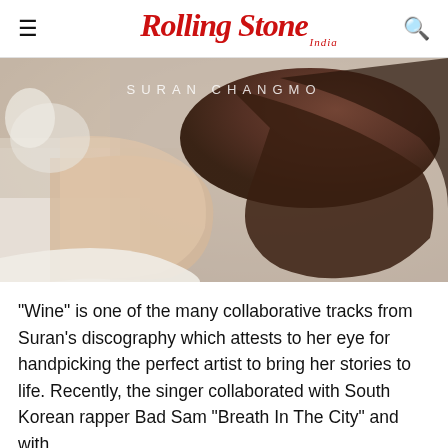Rolling Stone India
[Figure (photo): Music video or album art still showing a person with long dark hair, soft warm tones, with text overlay reading SURAN CHANGMO]
“Wine” is one of the many collaborative tracks from Suran’s discography which attests to her eye for handpicking the perfect artist to bring her stories to life. Recently, the singer collaborated with South Korean rapper Bad Sam “Breath In The City” and with